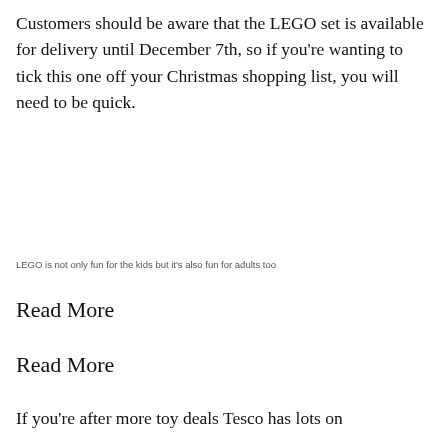Customers should be aware that the LEGO set is available for delivery until December 7th, so if you're wanting to tick this one off your Christmas shopping list, you will need to be quick.
LEGO is not only fun for the kids but it's also fun for adults too
Read More
Read More
If you're after more toy deals Tesco has lots on